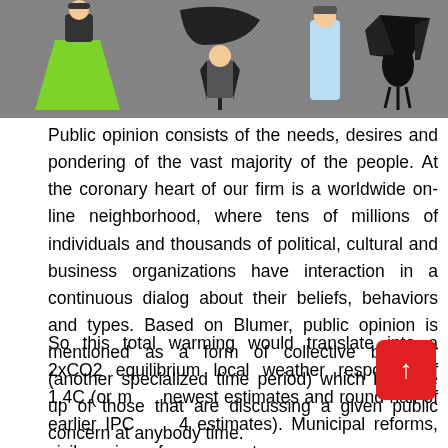[Figure (illustration): Colorful illustration with cartoon-style characters including a figure in a green dress, a figure with black umbrella, a figure in blue, and a dark bird/figure on the right, all against a gray/textured background.]
Public opinion consists of the needs, desires and pondering of the vast majority of the people. At the coronary heart of our firm is a worldwide on-line neighborhood, where tens of millions of individuals and thousands of political, cultural and business organizations have interaction in a continuous dialog about their beliefs, behaviors and types. Based on Blumer, public opinion is mentioned as a form of collective behavior (another specialized time period) which is made up of those that are discussing a given public concern at anybody time.
So this total warming would translate into a 2xCO2 equilibrium local weather response of 1.4C (or more newest estimates and round half of earlier IPCC AR4 estimates). Municipal reforms, civil service reform, corrupt